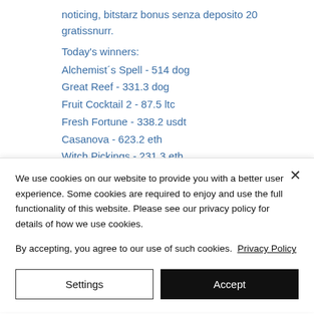noticing, bitstarz bonus senza deposito 20 gratissnurr.
Today's winners:
Alchemist´s Spell - 514 dog
Great Reef - 331.3 dog
Fruit Cocktail 2 - 87.5 ltc
Fresh Fortune - 338.2 usdt
Casanova - 623.2 eth
Witch Pickings - 231.3 eth
We use cookies on our website to provide you with a better user experience. Some cookies are required to enjoy and use the full functionality of this website. Please see our privacy policy for details of how we use cookies.
By accepting, you agree to our use of such cookies. Privacy Policy